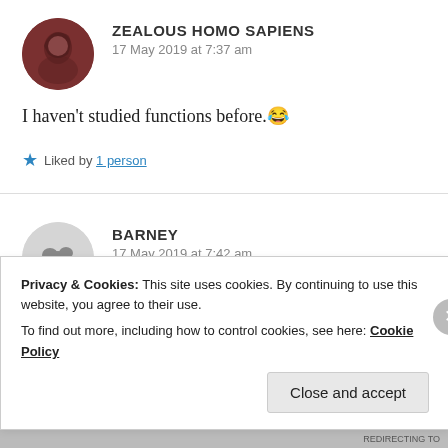[Figure (photo): Circular avatar photo of a person with dark hair, dark reddish-brown background]
ZEALOUS HOMO SAPIENS
17 May 2019 at 7:37 am
I haven't studied functions before. 😂
★ Liked by 1 person
[Figure (logo): Circular grey avatar with a small cloud icon and small text]
BARNEY
17 May 2019 at 7:42 am
Privacy & Cookies: This site uses cookies. By continuing to use this website, you agree to their use.
To find out more, including how to control cookies, see here: Cookie Policy
Close and accept